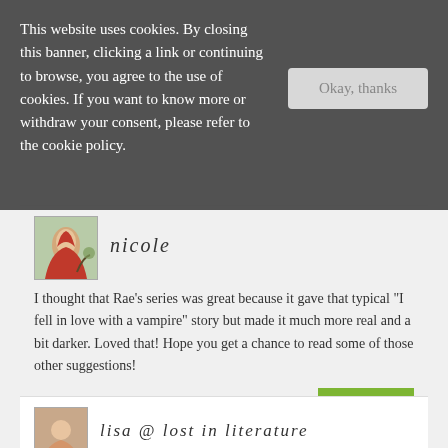This website uses cookies. By closing this banner, clicking a link or continuing to browse, you agree to the use of cookies. If you want to know more or withdraw your consent, please refer to the cookie policy.
nicole
I thought that Rae's series was great because it gave that typical “I fell in love with a vampire" story but made it much more real and a bit darker. Loved that! Hope you get a chance to read some of those other suggestions!
march 11, 2015, 9:57 pm
lisa @ lost in literature